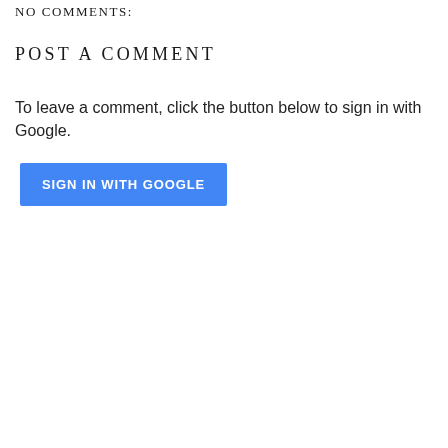NO COMMENTS:
POST A COMMENT
To leave a comment, click the button below to sign in with Google.
[Figure (other): Blue button labeled SIGN IN WITH GOOGLE]